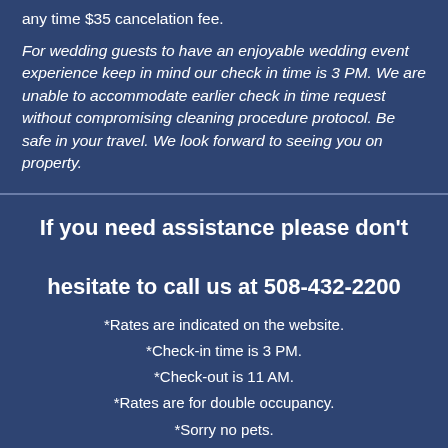any time $35 cancelation fee.
For wedding guests to have an enjoyable wedding event experience keep in mind our check in time is 3 PM. We are unable to accommodate earlier check in time request without compromising cleaning procedure protocol. Be safe in your travel. We look forward to seeing you on property.
If you need assistance please don't hesitate to call us at 508-432-2200
*Rates are indicated on the website.
*Check-in time is 3 PM.
*Check-out is 11 AM.
*Rates are for double occupancy.
*Sorry no pets.
*No smoking in room.
To request a wedding block,